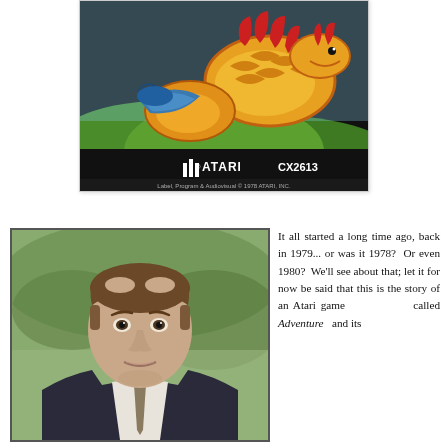[Figure (photo): Atari game cartridge with dragon/serpent artwork, labeled ATARI CX2613, copyright 1978 ATARI INC. Label Program & Audiovisual © 1978 ATARI, INC.]
[Figure (photo): Headshot portrait of a middle-aged man in a suit and tie, with brown hair, against a blurred outdoor background.]
It all started a long time ago, back in 1979... or was it 1978? Or even 1980? We'll see about that; let it for now be said that this is the story of an Atari game called Adventure and its